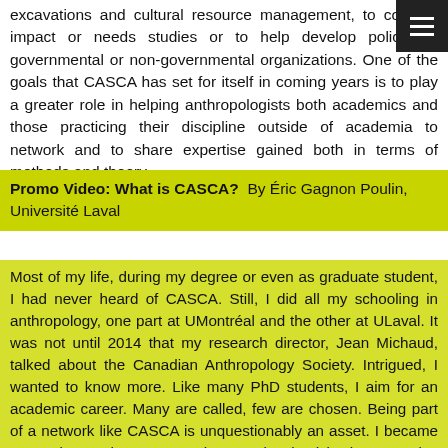excavations and cultural resource management, to conduct impact or needs studies or to help develop policy for governmental or non-governmental organizations. One of the goals that CASCA has set for itself in coming years is to play a greater role in helping anthropologists both academics and those practicing their discipline outside of academia to network and to share expertise gained both in terms of methods and theory.
Promo Video: What is CASCA?  By Éric Gagnon Poulin, Université Laval
Most of my life, during my degree or even as graduate student, I had never heard of CASCA. Still, I did all my schooling in anthropology, one part at UMontréal and the other at ULaval. It was not until 2014 that my research director, Jean Michaud, talked about the Canadian Anthropology Society. Intrigued, I wanted to know more. Like many PhD students, I aim for an academic career. Many are called, few are chosen. Being part of a network like CASCA is unquestionably an asset. I became a member and soon enough, I got involved in the executive committee as the francophone member at large. With my experience in documentary films, one of my first proposals was to make video to promote our association to our colleagues and other anthropologists. Today we present to you the result. We invite you to